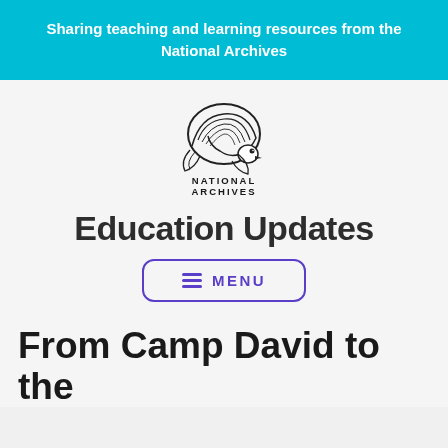Sharing teaching and learning resources from the National Archives
[Figure (logo): National Archives eagle logo with wave motif and text 'NATIONAL ARCHIVES']
Education Updates
≡ MENU
From Camp David to the